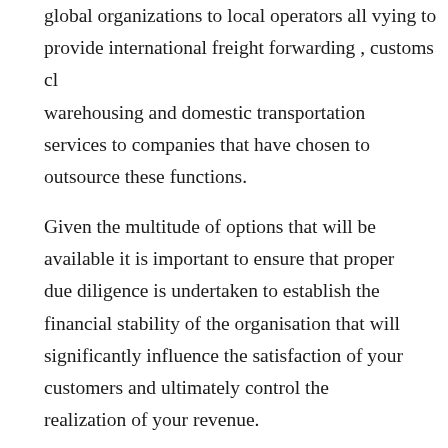global organizations to local operators all vying to provide international freight forwarding , customs clearance , warehousing and domestic transportation services to companies that have chosen to outsource these functions.
Given the multitude of options that will be available it is important to ensure that proper due diligence is undertaken to establish the financial stability of the organisation that will significantly influence the satisfaction of your customers and ultimately control the realization of your revenue.